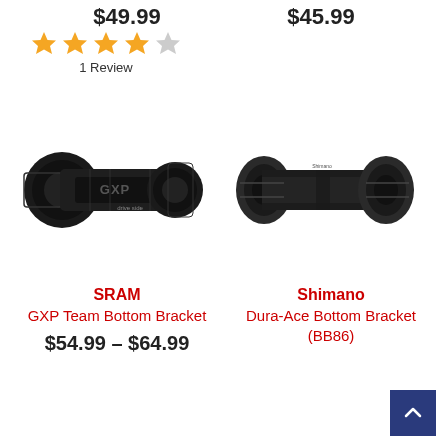$49.99
$45.99
[Figure (other): 4-star rating with 5 orange stars, last one greyed out]
1 Review
[Figure (photo): SRAM GXP Team Bottom Bracket - black cylindrical bike component]
[Figure (photo): Shimano Dura-Ace Bottom Bracket (BB86) - black press-fit cylindrical bike component]
SRAM
GXP Team Bottom Bracket
$54.99 – $64.99
Shimano
Dura-Ace Bottom Bracket (BB86)